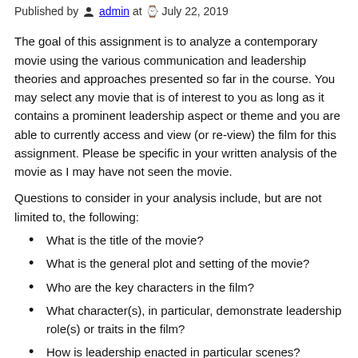Published by admin at July 22, 2019
The goal of this assignment is to analyze a contemporary movie using the various communication and leadership theories and approaches presented so far in the course. You may select any movie that is of interest to you as long as it contains a prominent leadership aspect or theme and you are able to currently access and view (or re-view) the film for this assignment. Please be specific in your written analysis of the movie as I may have not seen the movie.
Questions to consider in your analysis include, but are not limited to, the following:
What is the title of the movie?
What is the general plot and setting of the movie?
Who are the key characters in the film?
What character(s), in particular, demonstrate leadership role(s) or traits in the film?
How is leadership enacted in particular scenes?